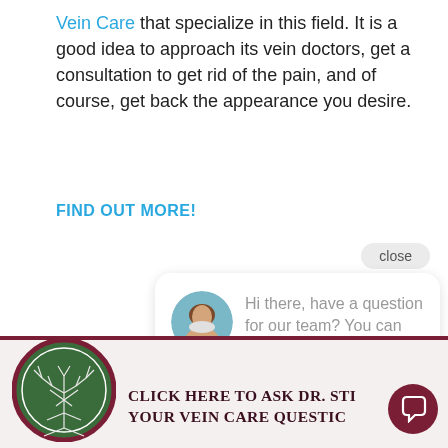Vein Care that specialize in this field. It is a good idea to approach its vein doctors, get a consultation to get rid of the pain, and of course, get back the appearance you desire.
FIND OUT MORE!
[Figure (screenshot): Chat popup bubble with avatar photo of a smiling woman and text: 'Hi there, have a question for our team? You can text us here.' with a close button above.]
[Figure (infographic): Footer banner with a tree logo in a circular dark green emblem with maroon border, text reading 'Click Here to Ask Dr. Sti Your Vein Care Questic' and a chat icon button on the right.]